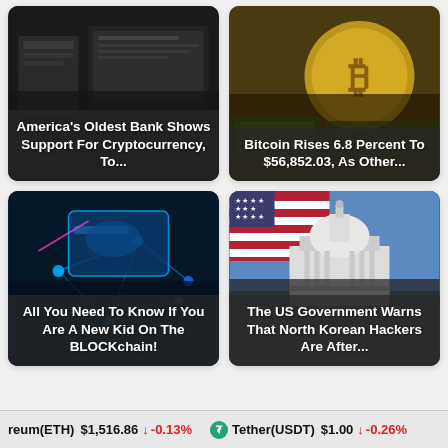[Figure (photo): News card: America's Oldest Bank Shows Support For Cryptocurrency, To...]
[Figure (photo): News card: Bitcoin Rises 6.8 Percent To $56,852.03, As Other...]
[Figure (photo): News card: All You Need To Know If You Are A New Kid On The BLOCKchain!]
[Figure (photo): News card: The US Government Warns That North Korean Hackers Are After...]
reum(ETH) $1,516.86 ↓ -0.13%   Tether(USDT) $1.00 ↓ -0.26%